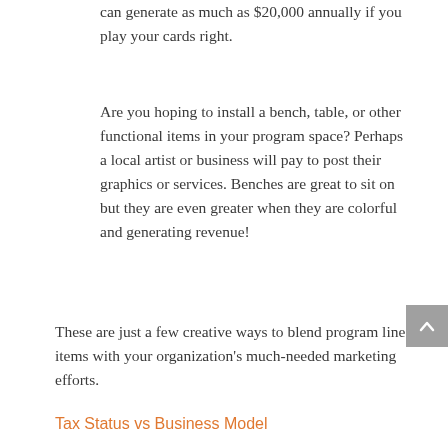can generate as much as $20,000 annually if you play your cards right.
Are you hoping to install a bench, table, or other functional items in your program space? Perhaps a local artist or business will pay to post their graphics or services. Benches are great to sit on but they are even greater when they are colorful and generating revenue!
These are just a few creative ways to blend program line items with your organization's much-needed marketing efforts.
Tax Status vs Business Model